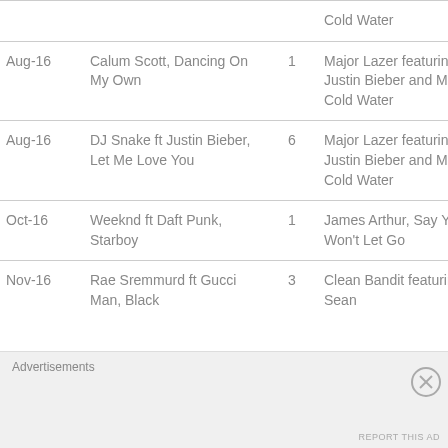| Date | Song | # | Reference |
| --- | --- | --- | --- |
|  | Cold Water |  |  |
| Aug-16 | Calum Scott, Dancing On My Own | 1 | Major Lazer featuring Justin Bieber and MØ, Cold Water |
| Aug-16 | DJ Snake ft Justin Bieber, Let Me Love You | 6 | Major Lazer featuring Justin Bieber and MØ, Cold Water |
| Oct-16 | Weeknd ft Daft Punk, Starboy | 1 | James Arthur, Say You Won't Let Go |
| Nov-16 | Rae Sremmurd ft Gucci Man, Black… | 3 | Clean Bandit featuring Sean… |
Advertisements
REPORT THIS AD